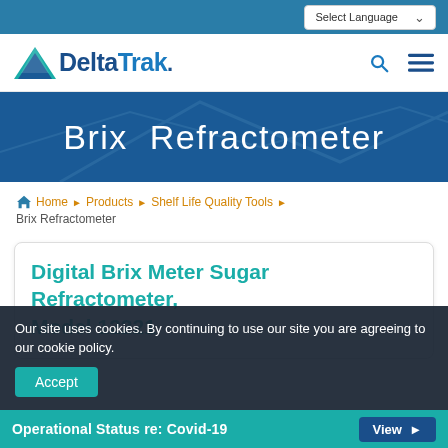Select Language
[Figure (logo): DeltaTrak logo with teal triangle and blue/teal text]
Brix Refractometer
Home ▶ Products ▶ Shelf Life Quality Tools ▶ Brix Refractometer
Digital Brix Meter Sugar Refractometer, Model 12221
Our site uses cookies. By continuing to use our site you are agreeing to our cookie policy.
Accept
Operational Status re: Covid-19  View ▶